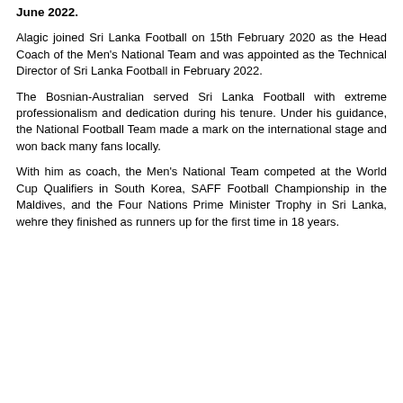June 2022.
Alagic joined Sri Lanka Football on 15th February 2020 as the Head Coach of the Men's National Team and was appointed as the Technical Director of Sri Lanka Football in February 2022.
The Bosnian-Australian served Sri Lanka Football with extreme professionalism and dedication during his tenure. Under his guidance, the National Football Team made a mark on the international stage and won back many fans locally.
With him as coach, the Men's National Team competed at the World Cup Qualifiers in South Korea, SAFF Football Championship in the Maldives, and the Four Nations Prime Minister Trophy in Sri Lanka, wehre they finished as runners up for the first time in 18 years.